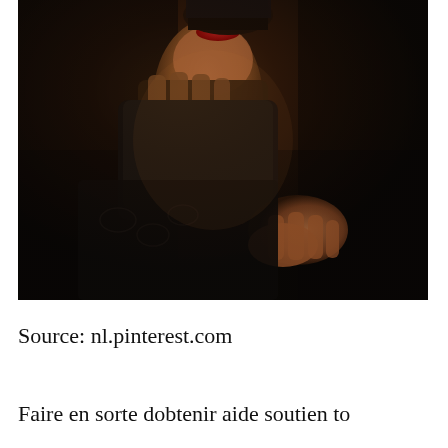[Figure (photo): Dark dramatic fashion photograph showing a woman with red lips and dark hair wearing a black lace outfit, with a man's hand reaching toward her throat/neck area. The image has high contrast dark tones with warm highlights on skin.]
Source: nl.pinterest.com
Faire en sorte dobtenir aide soutien to